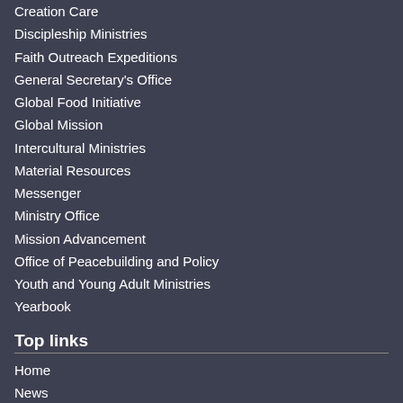Creation Care
Discipleship Ministries
Faith Outreach Expeditions
General Secretary's Office
Global Food Initiative
Global Mission
Intercultural Ministries
Material Resources
Messenger
Ministry Office
Mission Advancement
Office of Peacebuilding and Policy
Youth and Young Adult Ministries
Yearbook
Top links
Home
News
About the church